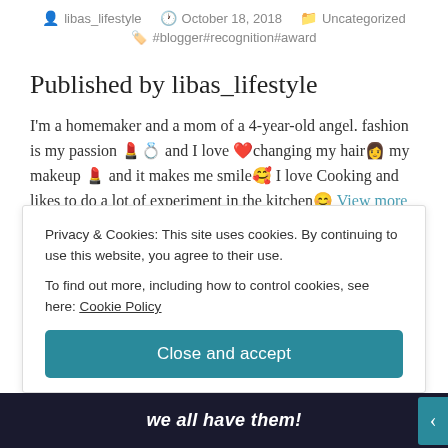libas_lifestyle   October 18, 2018   Uncategorized   #blogger#recognition#award
Published by libas_lifestyle
I'm a homemaker and a mom of a 4-year-old angel. fashion is my passion 💄💍 and I love ❤️changing my hair👩 my makeup 💄 and it makes me smile🥰 I love Cooking and likes to do a lot of experiment in the kitchen😊 View more posts
Privacy & Cookies: This site uses cookies. By continuing to use this website, you agree to their use.
To find out more, including how to control cookies, see here: Cookie Policy
Close and accept
we all have them!